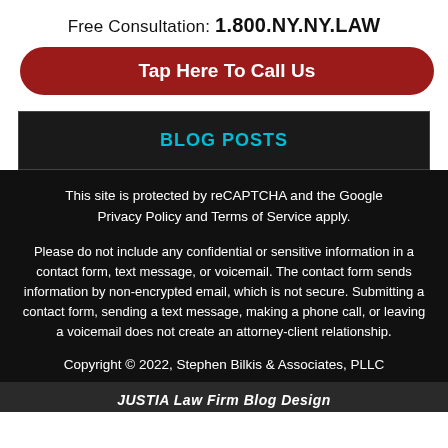Free Consultation: 1.800.NY.NY.LAW
Tap Here To Call Us
BLOG POSTS
This site is protected by reCAPTCHA and the Google Privacy Policy and Terms of Service apply.
Please do not include any confidential or sensitive information in a contact form, text message, or voicemail. The contact form sends information by non-encrypted email, which is not secure. Submitting a contact form, sending a text message, making a phone call, or leaving a voicemail does not create an attorney-client relationship.
Copyright © 2022, Stephen Bilkis & Associates, PLLC
JUSTIA Law Firm Blog Design